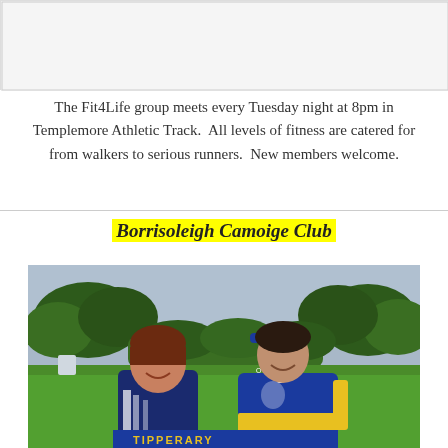[Figure (photo): White/light grey placeholder image area at top of page]
The Fit4Life group meets every Tuesday night at 8pm in Templemore Athletic Track.  All levels of fitness are catered for from walkers to serious runners.  New members welcome.
Borrisoleigh Camoige Club
[Figure (photo): Two women smiling outdoors on a sports field. One wears a blue and white jacket, the other wears a blue and yellow Tipperary camogie jersey (O'Neills, number 3). Trees and green grass visible in background.]